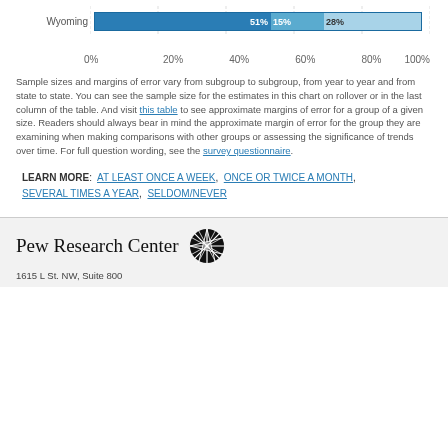[Figure (stacked-bar-chart): ]
Sample sizes and margins of error vary from subgroup to subgroup, from year to year and from state to state. You can see the sample size for the estimates in this chart on rollover or in the last column of the table. And visit this table to see approximate margins of error for a group of a given size. Readers should always bear in mind the approximate margin of error for the group they are examining when making comparisons with other groups or assessing the significance of trends over time. For full question wording, see the survey questionnaire.
LEARN MORE: AT LEAST ONCE A WEEK, ONCE OR TWICE A MONTH, SEVERAL TIMES A YEAR, SELDOM/NEVER
Pew Research Center
1615 L St. NW, Suite 800